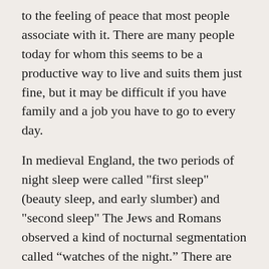to the feeling of peace that most people associate with it. There are many people today for whom this seems to be a productive way to live and suits them just fine, but it may be difficult if you have family and a job you have to go to every day.
In medieval England, the two periods of night sleep were called "first sleep" (beauty sleep, and early slumber) and "second sleep" The Jews and Romans observed a kind of nocturnal segmentation called “watches of the night.” There are biblical references to these, which consisted of 3-hour portions starting with 6 in the evening with sunset and ending with 6 o'clock sunrise. Recall how Jesus awoke and “a great while before day went to the mountain to pray.” He did His water-walking during the third